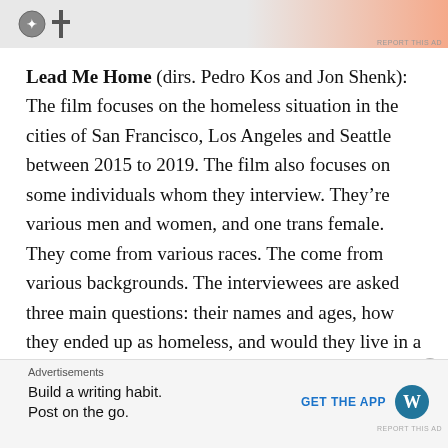[Figure (other): Top advertisement banner with gradient background (gray to orange/peach) and a partially visible logo]
Lead Me Home (dirs. Pedro Kos and Jon Shenk): The film focuses on the homeless situation in the cities of San Francisco, Los Angeles and Seattle between 2015 to 2019. The film also focuses on some individuals whom they interview. They’re various men and women, and one trans female. They come from various races. The come from various backgrounds. The interviewees are asked three main questions: their names and ages, how they ended up as homeless, and would they live in a home. The people range in ages from 26 to their 50’s. How they became homeless are a mixed bag of scenarios from drug addiction to a criminal past to the trans female disowned by the fami…
Advertisements
Build a writing habit. Post on the go.
GET THE APP